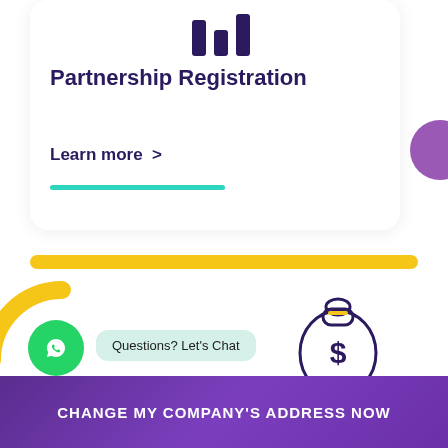[Figure (illustration): Bar chart icon with three vertical bars of varying heights in dark purple/navy color at top of card]
Partnership Registration
Learn more  >
[Figure (illustration): Yellow horizontal bar/divider]
[Figure (illustration): Yellow arc/circle partially visible at bottom left]
[Figure (illustration): WhatsApp green circle button with phone icon]
[Figure (illustration): Chat bubble saying 'Questions? Let's Chat']
[Figure (illustration): Money bag with dollar sign held by hand illustration]
CHANGE MY COMPANY'S ADDRESS NOW